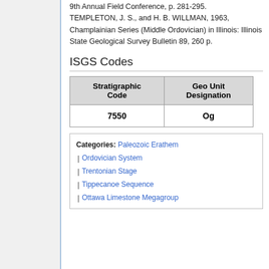9th Annual Field Conference, p. 281-295.
TEMPLETON, J. S., and H. B. WILLMAN, 1963, Champlainian Series (Middle Ordovician) in Illinois: Illinois State Geological Survey Bulletin 89, 260 p.
ISGS Codes
| Stratigraphic Code | Geo Unit Designation |
| --- | --- |
| 7550 | Og |
Categories: Paleozoic Erathem
Ordovician System
Trentonian Stage
Tippecanoe Sequence
Ottawa Limestone Megagroup